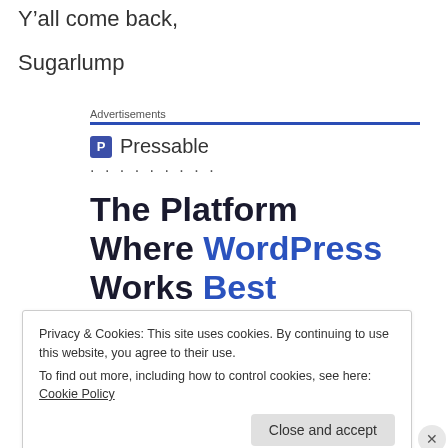Y'all come back,
Sugarlump
Advertisements
[Figure (logo): Pressable logo with blue icon and text, followed by dots, then large bold headline: The Platform Where WordPress Works Best]
Privacy & Cookies: This site uses cookies. By continuing to use this website, you agree to their use.
To find out more, including how to control cookies, see here: Cookie Policy
Close and accept